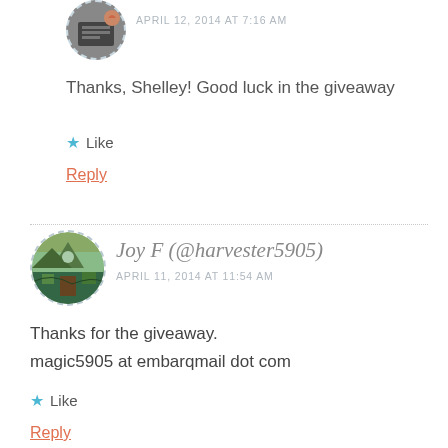APRIL 12, 2014 AT 7:16 AM
Thanks, Shelley! Good luck in the giveaway
Like
Reply
Joy F (@harvester5905)
APRIL 11, 2014 AT 11:54 AM
Thanks for the giveaway.
magic5905 at embarqmail dot com
Like
Reply